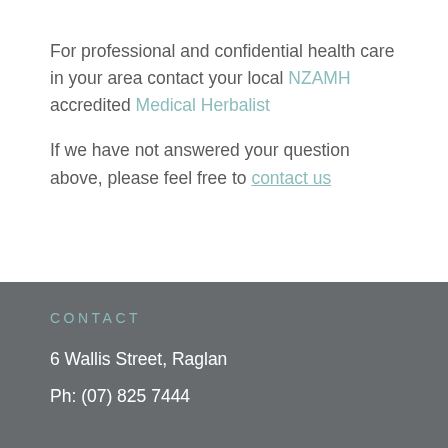For professional and confidential health care in your area contact your local NZAMH accredited Medical Herbalist
If we have not answered your question above, please feel free to contact us
CONTACT
6 Wallis Street, Raglan
Ph: (07) 825 7444